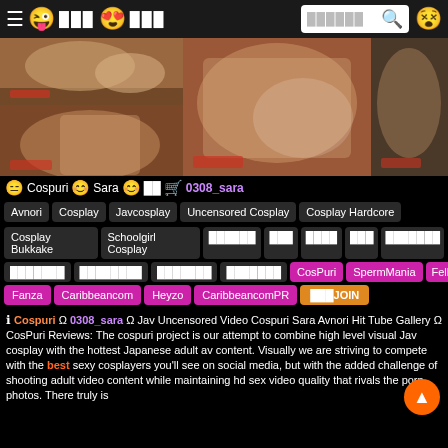☰ 😜 [Japanese] 😍 [Japanese] [search bar] 😵
[Figure (photo): Grid of cosplay adult content thumbnail images]
😑 Cospuri 😊 Sara 😊 [JP] 🛒 0308_sara
Avnori | Cosplay | Javcosplay | Uncensored Cosplay | Cosplay Hardcore
Cosplay Bukkake | Schoolgirl Cosplay | [JP tags] | CosPuri | SpermMania | FellatioJapan
Fanza | Caribbeancom | Heyzo | CaribbeancomPR | [JP]JOIN
ℹ Cospuri Ω 0308_sara Ω Jav Uncensored Video Cospuri Sara Avnori Hit Tube Gallery Ω CosPuri Reviews: The cospuri project is our attempt to combine high level visual Jav cosplay with the hottest Japanese adult av content. Visually we are striving to compete with the sexy cosplayers you'll see on social media, but with the added challenge of shooting adult video content while maintaining hd sex video quality that rivals the porn photos. There truly is